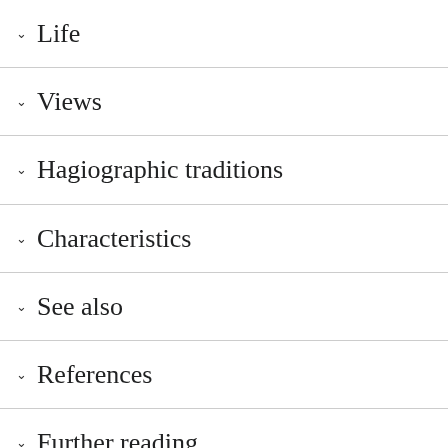Life
Views
Hagiographic traditions
Characteristics
See also
References
Further reading